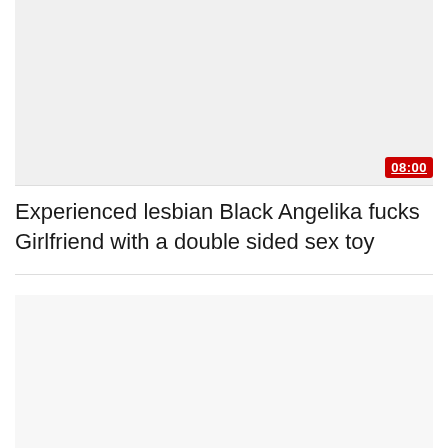[Figure (other): Thumbnail image placeholder (top), light gray background]
Experienced lesbian Black Angelika fucks Girlfriend with a double sided sex toy
[Figure (other): Thumbnail image placeholder (bottom), light gray background]